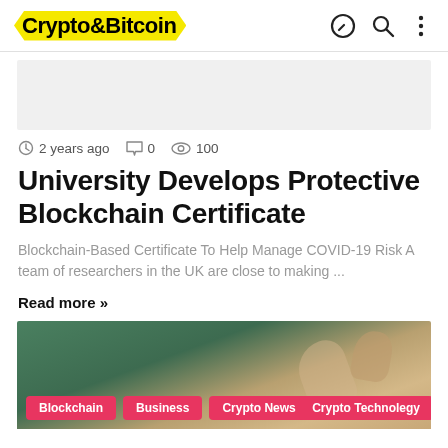Crypto&Bitcoin
[Figure (photo): Partial article image placeholder (gray)]
2 years ago   0   100
University Develops Protective Blockchain Certificate
Blockchain-Based Certificate To Help Manage COVID-19 Risk A team of researchers in the UK are close to making ...
Read more »
[Figure (photo): Bottom article image with category tags: Blockchain, Business, Crypto News, Crypto Technolegy]